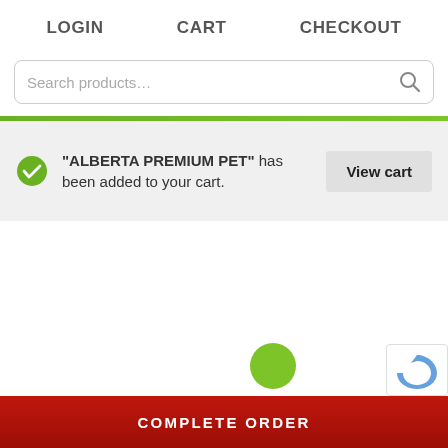LOGIN  CART  CHECKOUT
Search products...
“ALBERTA PREMIUM PET” has been added to your cart.
View cart
COMPLETE ORDER